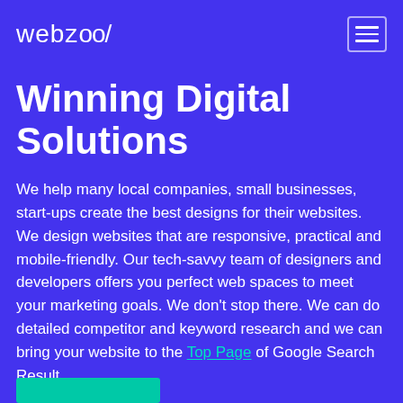webzool
Winning Digital Solutions
We help many local companies, small businesses, start-ups create the best designs for their websites. We design websites that are responsive, practical and mobile-friendly. Our tech-savvy team of designers and developers offers you perfect web spaces to meet your marketing goals. We don't stop there. We can do detailed competitor and keyword research and we can bring your website to the Top Page of Google Search Result.
[Figure (other): Teal/green button at the bottom of the page]